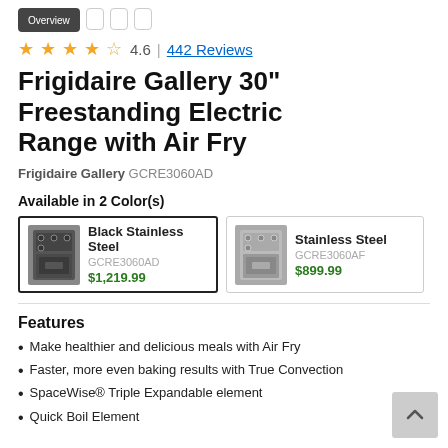★★★★☆ 4.6 | 442 Reviews
Frigidaire Gallery 30" Freestanding Electric Range with Air Fry
Frigidaire Gallery GCRE3060AD
Available in 2 Color(s)
| Color | Model | Price |
| --- | --- | --- |
| Black Stainless Steel | GCRE3060AD | $1,219.99 |
| Stainless Steel | GCRE3060AF | $899.99 |
Features
Make healthier and delicious meals with Air Fry
Faster, more even baking results with True Convection
SpaceWise® Triple Expandable element
Quick Boil Element